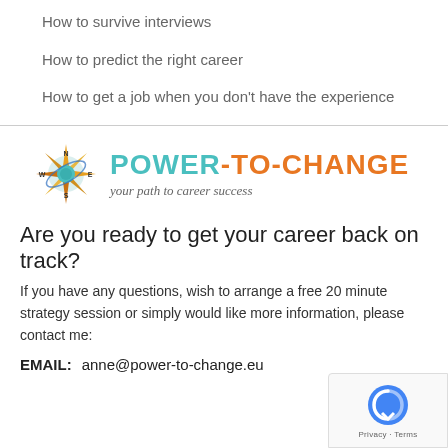How to survive interviews
How to predict the right career
How to get a job when you don't have the experience
[Figure (logo): Power-To-Change logo with compass rose icon and tagline 'your path to career success']
Are you ready to get your career back on track?
If you have any questions, wish to arrange a free 20 minute strategy session or simply would like more information, please contact me:
EMAIL:   anne@power-to-change.eu